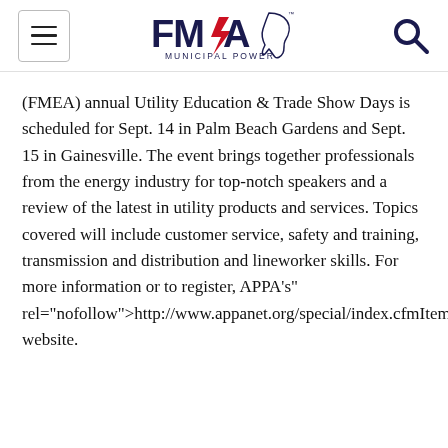FMPA Municipal Power logo with navigation menu icon and search icon
(FMEA) annual Utility Education & Trade Show Days is scheduled for Sept. 14 in Palm Beach Gardens and Sept. 15 in Gainesville. The event brings together professionals from the energy industry for top-notch speakers and a review of the latest in utility products and services. Topics covered will include customer service, safety and training, transmission and distribution and lineworker skills. For more information or to register, APPA's" rel="nofollow">http://www.appanet.org/special/index.cfmItemNumber=9414&navItemNumber=21076>APPA's website.